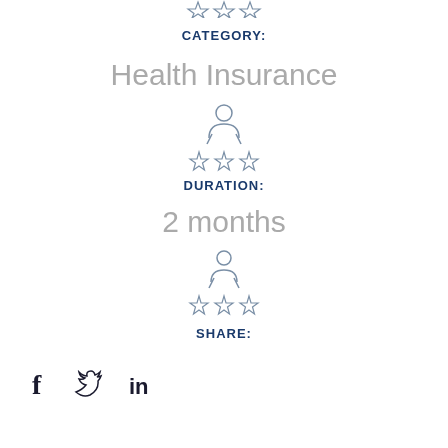[Figure (illustration): Person with three stars icon (rating/category icon), small, at top]
CATEGORY:
Health Insurance
[Figure (illustration): Person with three stars icon (rating icon) for Duration section]
DURATION:
2 months
[Figure (illustration): Person with three stars icon (rating icon) for Share section]
SHARE:
[Figure (illustration): Social media icons: Facebook, Twitter, LinkedIn]